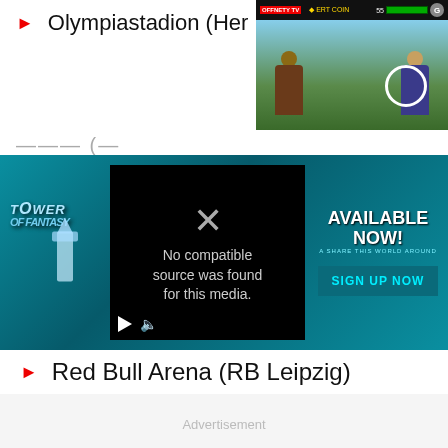Olympiastadion (Her…
[Figure (screenshot): Game screenshot in top-right corner showing fighting game UI with health bars and game scene]
[Figure (screenshot): Tower of Fantasy advertisement banner with video player showing 'No compatible source was found for this media.' and Sign Up Now button]
Red Bull Arena (RB Leipzig)
Advertisement
[Figure (screenshot): Advertisement area with partial screenshot of a web UI]